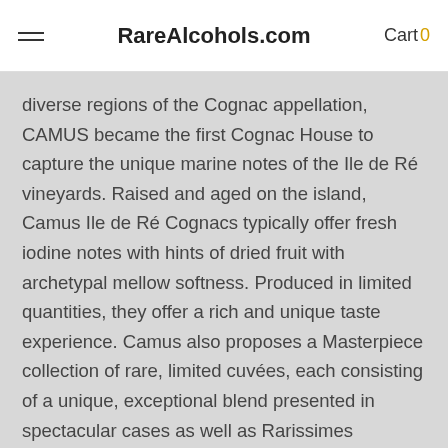RareAlcohols.com  Cart 0
diverse regions of the Cognac appellation, CAMUS became the first Cognac House to capture the unique marine notes of the Ile de Ré vineyards. Raised and aged on the island, Camus Ile de Ré Cognacs typically offer fresh iodine notes with hints of dried fruit with archetypal mellow softness. Produced in limited quantities, they offer a rich and unique taste experience. Camus also proposes a Masterpiece collection of rare, limited cuvées, each consisting of a unique, exceptional blend presented in spectacular cases as well as Rarissimes vintages of most extraordinary Cognacs – certified under bailiff's supervision and bottled without reduction, allowing them to express the full strength of their aroma and character.